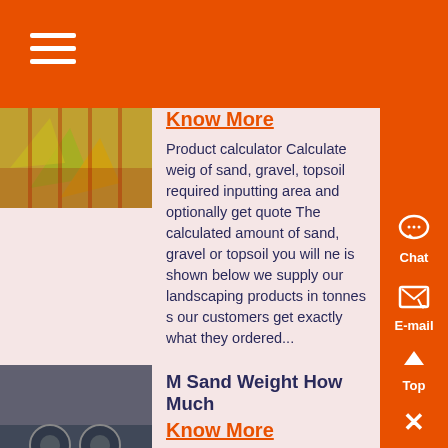Navigation menu header bar
[Figure (photo): Photo of autumn leaves on wooden surface with red mesh pattern]
Know More
Product calculator Calculate weig of sand, gravel, topsoil required inputting area and optionally get quote The calculated amount of sand, gravel or topsoil you will ne is shown below we supply our landscaping products in tonnes s our customers get exactly what they ordered...
[Figure (photo): Photo of metal bolts or screws on a gray surface]
M Sand Weight How Much
Know More
M Sand Weight How Much How